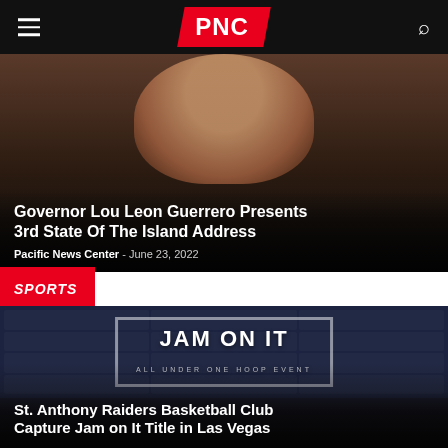PNC
Governor Lou Leon Guerrero Presents 3rd State Of The Island Address
Pacific News Center - June 23, 2022
SPORTS
[Figure (photo): Group photo of St. Anthony Raiders Basketball Club in front of Jam On It event backdrop, Las Vegas]
St. Anthony Raiders Basketball Club Capture Jam on It Title in Las Vegas